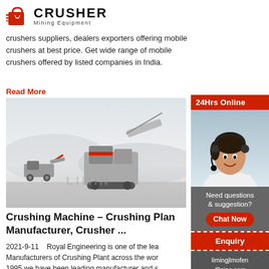[Figure (logo): Crusher Mining Equipment logo with red shopping bag icon and bold CRUSHER text]
crushers suppliers, dealers exporters offering mobile crushers at best price. Get wide range of mobile crushers offered by listed companies in India.
Read More
[Figure (photo): Photo of mobile crushing machines/equipment in a dusty outdoor setting with LIMING watermark]
[Figure (photo): 24Hrs Online sidebar with woman wearing headset, Need questions & suggestion, Chat Now button, Enquiry section, limingjlmofen@sina.com]
Crushing Machine – Crushing Plant Manufacturer, Crusher ...
2021-9-11   Royal Engineering is one of the leading Manufacturers of Crushing Plant across the world. Since 1995 we have been leading manufacturer and supplier of Crushing Plant, Crusher Machine, Jaw Crusher, Screening, Conveying Equipment, also Mineral p...